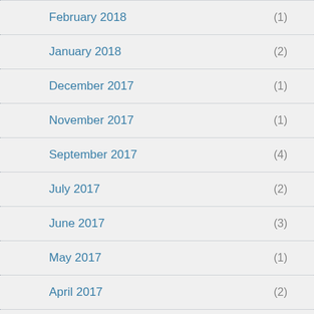February 2018 (1)
January 2018 (2)
December 2017 (1)
November 2017 (1)
September 2017 (4)
July 2017 (2)
June 2017 (3)
May 2017 (1)
April 2017 (2)
March 2017 (3)